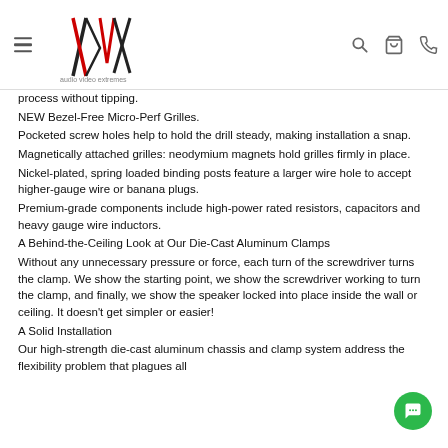AVX audio video extremes — navigation header
process without tipping.
NEW Bezel-Free Micro-Perf Grilles.
Pocketed screw holes help to hold the drill steady, making installation a snap.
Magnetically attached grilles: neodymium magnets hold grilles firmly in place.
Nickel-plated, spring loaded binding posts feature a larger wire hole to accept higher-gauge wire or banana plugs.
Premium-grade components include high-power rated resistors, capacitors and heavy gauge wire inductors.
A Behind-the-Ceiling Look at Our Die-Cast Aluminum Clamps
Without any unnecessary pressure or force, each turn of the screwdriver turns the clamp. We show the starting point, we show the screwdriver working to turn the clamp, and finally, we show the speaker locked into place inside the wall or ceiling. It doesn't get simpler or easier!
A Solid Installation
Our high-strength die-cast aluminum chassis and clamp system address the flexibility problem that plagues all